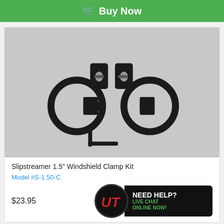Buy Now
[Figure (photo): Product photo of Slipstreamer 1.5 inch Windshield Clamp Kit showing two black circular clamps with mounting brackets and an Allen wrench, on a gray background.]
Slipstreamer 1.5" Windshield Clamp Kit
Model #S-1.50-C
$23.95
[Figure (logo): Universal Technical Institute (UT) logo with red script letters on black circle, next to NEED HELP? LIVE CHAT ONLINE NOW! banner in green and white text on black background.]